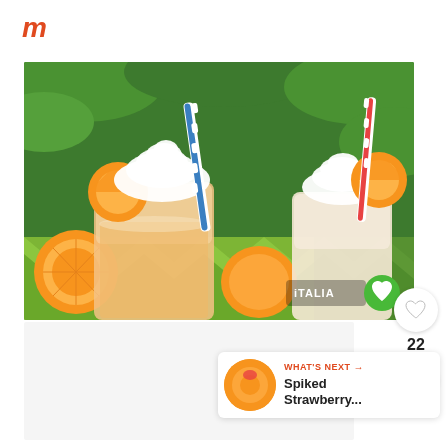m
[Figure (photo): Two frosted mason jar drinks topped with whipped cream and orange slices, with blue and red striped straws. Whole oranges visible in background on a green patterned surface. Logo watermark 'ITALIA' visible in bottom right of photo with a heart icon.]
22
[Figure (other): Share icon button (circle with white background and share symbol)]
[Figure (other): What's Next panel showing a thumbnail of a Spiked Strawberry drink with label 'WHAT'S NEXT' and arrow, followed by title 'Spiked Strawberry...']